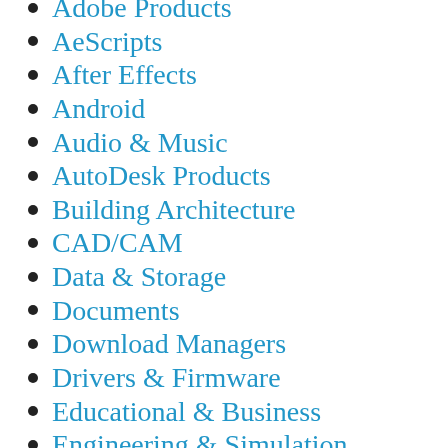Adobe Products
AeScripts
After Effects
Android
Audio & Music
AutoDesk Products
Building Architecture
CAD/CAM
Data & Storage
Documents
Download Managers
Drivers & Firmware
Educational & Business
Engineering & Simulation
Font
Fonts
Games